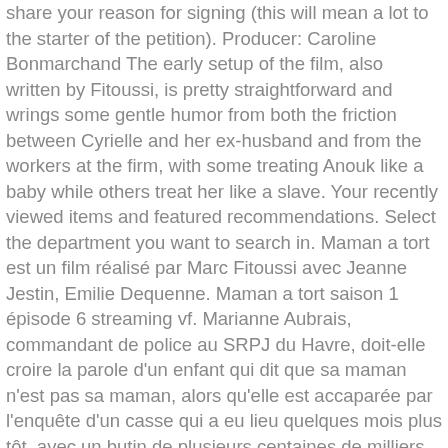share your reason for signing (this will mean a lot to the starter of the petition). Producer: Caroline Bonmarchand The early setup of the film, also written by Fitoussi, is pretty straightforward and wrings some gentle humor from both the friction between Cyrielle and her ex-husband and from the workers at the firm, with some treating Anouk like a baby while others treat her like a slave. Your recently viewed items and featured recommendations. Select the department you want to search in. Maman a tort est un film réalisé par Marc Fitoussi avec Jeanne Jestin, Emilie Dequenne. Maman a tort saison 1 épisode 6 streaming vf. Marianne Aubrais, commandant de police au SRPJ du Havre, doit-elle croire la parole d'un enfant qui dit que sa maman n'est pas sa maman, alors qu'elle est accaparée par l'enquête d'un casse qui a eu lieu quelques mois plus tôt, avec un butin de plusieurs centaines de milliers d'Euros envolé dans la nature et deux fuyards qui courent toujours ? Please try again. Maman a tort poster.. With daily news, interviews, data bases, in-depth investigations into the audiovisual industry, Cineuropa aims at